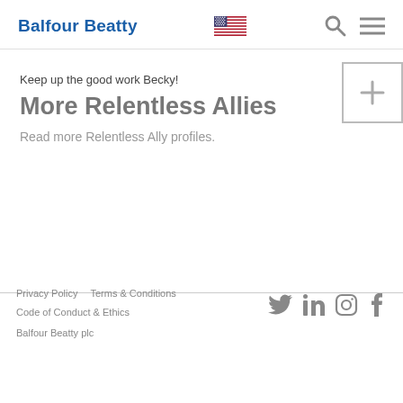Balfour Beatty
Keep up the good work Becky!
More Relentless Allies
Read more Relentless Ally profiles.
Privacy Policy   Terms & Conditions   Code of Conduct & Ethics   Balfour Beatty plc